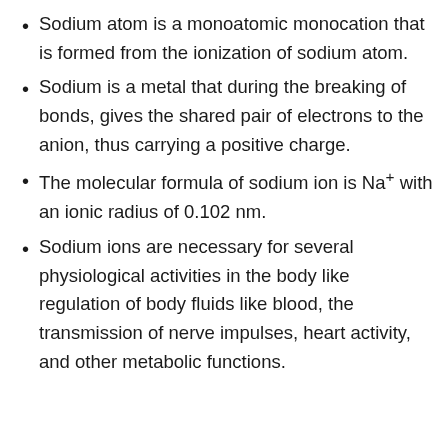Sodium atom is a monoatomic monocation that is formed from the ionization of sodium atom.
Sodium is a metal that during the breaking of bonds, gives the shared pair of electrons to the anion, thus carrying a positive charge.
The molecular formula of sodium ion is Na+ with an ionic radius of 0.102 nm.
Sodium ions are necessary for several physiological activities in the body like regulation of body fluids like blood, the transmission of nerve impulses, heart activity, and other metabolic functions.